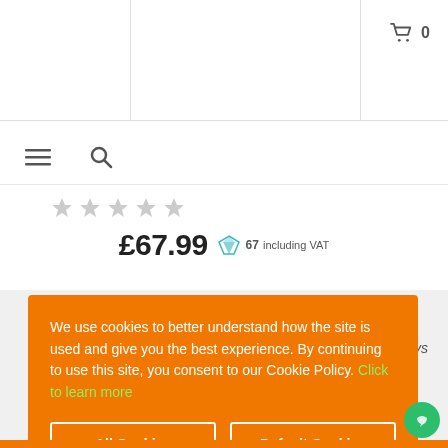[Figure (screenshot): Shopping cart icon with count 0]
[Figure (screenshot): Hamburger menu icon and search icon navigation bar]
[Figure (screenshot): 5-star rating row (grey stars)]
£67.99 67 including VAT
[Figure (screenshot): Delivery Service icon with truck]
We use cookies to better understand how the site is used and give you the best experience. By continuing to use this site, you consent to our Cookie Policy. Click to learn more
All Cookies
Default Cookies